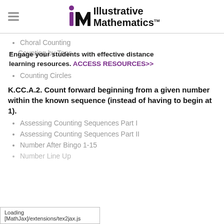Illustrative Mathematics
Choral Counting
Engage your students with effective distance learning resources. ACCESS RESOURCES>>
Counting by Tens
Counting Circles
K.CC.A.2. Count forward beginning from a given number within the known sequence (instead of having to begin at 1).
Assessing Counting Sequences Part I
Assessing Counting Sequences Part II
Number After Bingo 1-15
Number Line Up
Loading [MathJax]/extensions/tex2jax.js